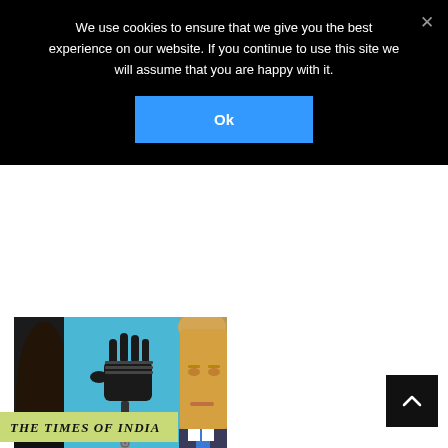We use cookies to ensure that we give you the best experience on our website. If you continue to use this site we will assume that you are happy with it.
[Figure (screenshot): Blue 'Ok' button on cookie consent banner]
[Figure (photo): Composite image of two faces (dark-skinned person on left, Donald Trump on right) with a center image of a gloved hand holding a dropper with a nuclear symbol droplet, on blue background]
Trump & Putin: The Politics of Insanity
Categories: Short Takes
[Figure (logo): The Times of India logo on yellow-green background]